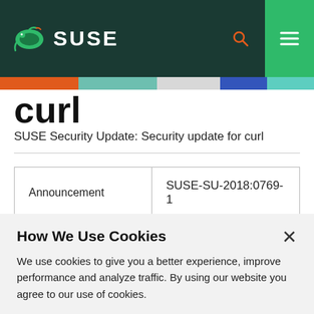SUSE
curl
SUSE Security Update: Security update for curl
| Announcement |  |
| --- | --- |
| Announcement | SUSE-SU-2018:0769-1 |
How We Use Cookies
We use cookies to give you a better experience, improve performance and analyze traffic. By using our website you agree to our use of cookies.
View and change cookie preferences >